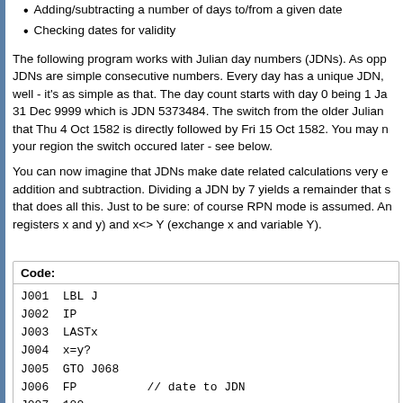Adding/subtracting a number of days to/from a given date
Checking dates for validity
The following program works with Julian day numbers (JDNs). As opposed to calendar dates, JDNs are simple consecutive numbers. Every day has a unique JDN, and tomorrow as well - it's as simple as that. The day count starts with day 0 being 1 Jan... 31 Dec 9999 which is JDN 5373484. The switch from the older Julian... that Thu 4 Oct 1582 is directly followed by Fri 15 Oct 1582. You may n... your region the switch occured later - see below.
You can now imagine that JDNs make date related calculations very e... addition and subtraction. Dividing a JDN by 7 yields a remainder that s... that does all this. Just to be sure: of course RPN mode is assumed. An... registers x and y) and x<> Y (exchange x and variable Y).
| Code: |
| --- |
| J001  LBL J |
| J002  IP |
| J003  LASTx |
| J004  x=y? |
| J005  GTO J068 |
| J006  FP         // date to JDN |
| J007  100 |
| J008  x |